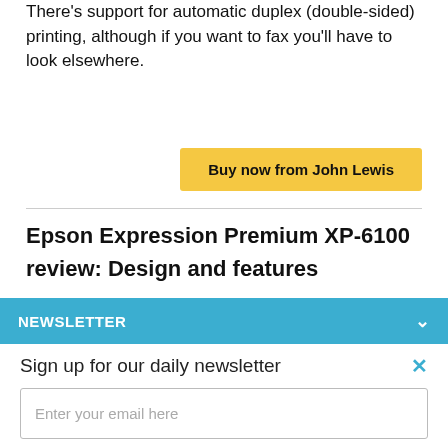There's support for automatic duplex (double-sided) printing, although if you want to fax you'll have to look elsewhere.
Buy now from John Lewis
Epson Expression Premium XP-6100 review: Design and features
NEWSLETTER
Sign up for our daily newsletter
Enter your email here
SIGN ME UP